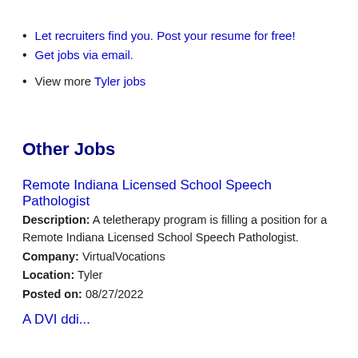Let recruiters find you. Post your resume for free!
Get jobs via email.
View more Tyler jobs
Other Jobs
Remote Indiana Licensed School Speech Pathologist
Description: A teletherapy program is filling a position for a Remote Indiana Licensed School Speech Pathologist.
Company: VirtualVocations
Location: Tyler
Posted on: 08/27/2022